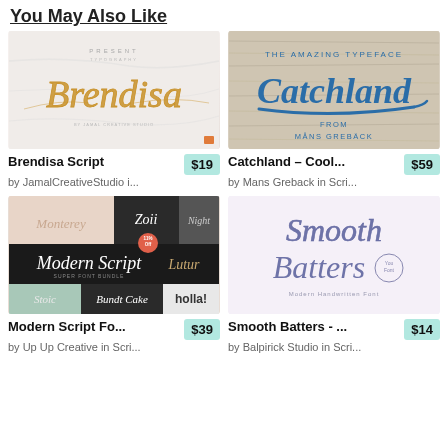You May Also Like
[Figure (illustration): Brendisa Script font preview on marble background with golden cursive lettering]
Brendisa Script
$19
by JamalCreativeStudio i...
[Figure (illustration): Catchland Cool typeface preview on wood background with blue retro script text reading 'Catchland' and 'THE AMAZING TYPEFACE FROM MÅNS GREBÄCK']
Catchland – Cool...
$59
by Mans Greback in Scri...
[Figure (illustration): Modern Script Font Bundle collage showing multiple script fonts on various backgrounds including black, teal, marble]
Modern Script Fo...
$39
by Up Up Creative in Scri...
[Figure (illustration): Smooth Batters handwritten font preview on light background with navy blue cursive lettering]
Smooth Batters - ...
$14
by Balpirick Studio in Scri...